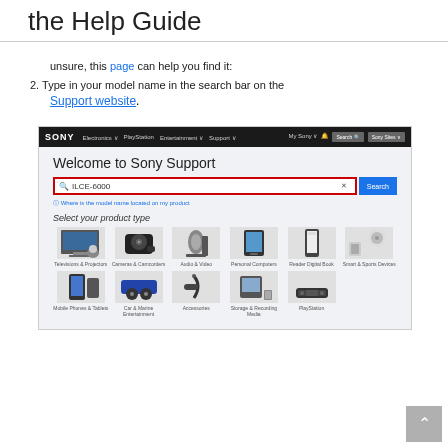the Help Guide
unsure, this page can help you find it:
2. Type in your model name in the search bar on the Support website.
[Figure (screenshot): Sony Support website screenshot showing 'Welcome to Sony Support' heading, a search bar with 'ILCE-6000' typed in (highlighted with red border), an X button, a blue Search button, and product category icons including Televisions & Projectors, Cameras & Camcorders, Audio & Video, Personal Computers, Reader Digital Book, Smart & Sports Devices, Mobile Phones & Tablets, Car & Marine Entertainment, Accessories, Storage & Recording Media, PlayStation.]